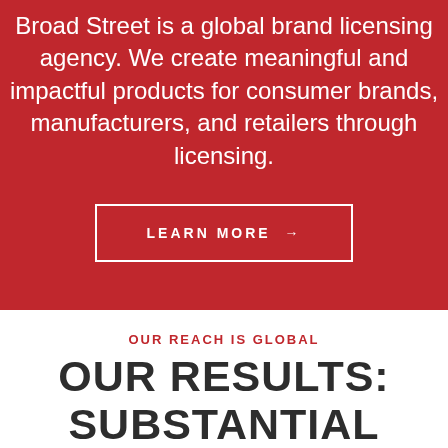Broad Street is a global brand licensing agency. We create meaningful and impactful products for consumer brands, manufacturers, and retailers through licensing.
LEARN MORE →
OUR REACH IS GLOBAL
OUR RESULTS: SUBSTANTIAL